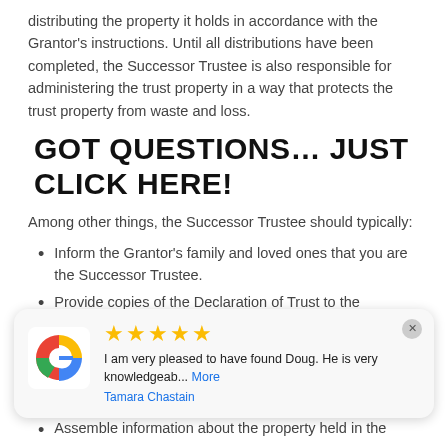distributing the property it holds in accordance with the Grantor's instructions. Until all distributions have been completed, the Successor Trustee is also responsible for administering the trust property in a way that protects the trust property from waste and loss.
GOT QUESTIONS… JUST CLICK HERE!
Among other things, the Successor Trustee should typically:
Inform the Grantor's family and loved ones that you are the Successor Trustee.
Provide copies of the Declaration of Trust to the beneficiaries named therein.
[Figure (other): Google review widget showing 5 stars and a review by Tamara Chastain: 'I am very pleased to have found Doug. He is very knowledgeab... More']
Assemble information about the property held in the